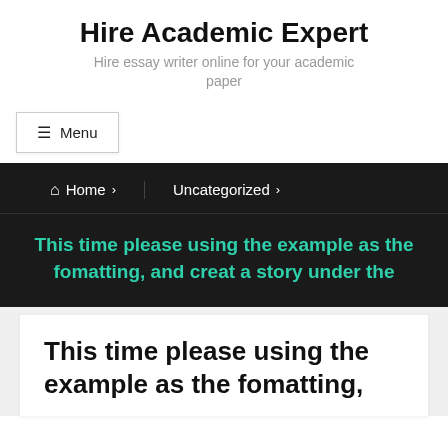Hire Academic Expert
Hire essay writer online for your academic paper
☰ Menu
Home › Uncategorized ›
This time please using the example as the fomatting, and creat a story under the
This time please using the example as the fomatting,